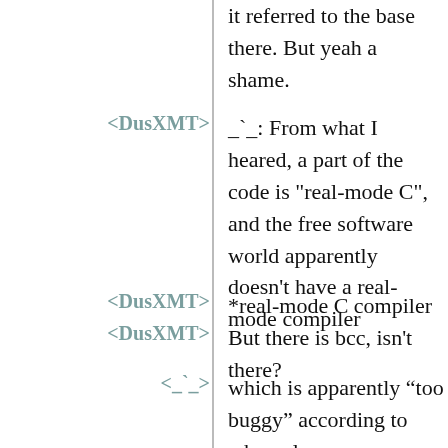it referred to the base there. But yeah a shame.
<DusXMT>
_`_: From what I heared, a part of the code is "real-mode C", and the free software world apparently doesn't have a real-mode compiler
<DusXMT>
*real-mode C compiler
<DusXMT>
But there is bcc, isn't there?
<_`_>
which is apparently “too buggy” according to whoracle.